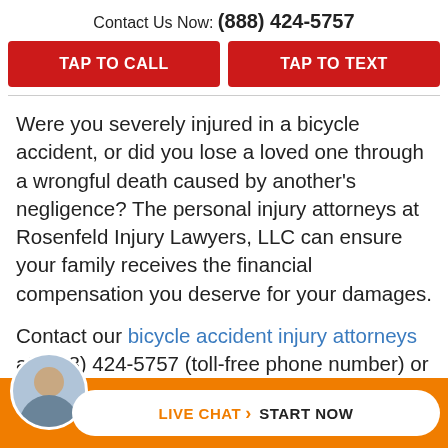Contact Us Now: (888) 424-5757
TAP TO CALL
TAP TO TEXT
Were you severely injured in a bicycle accident, or did you lose a loved one through a wrongful death caused by another’s negligence? The personal injury attorneys at Rosenfeld Injury Lawyers, LLC can ensure your family receives the financial compensation you deserve for your damages.
Contact our bicycle accident injury attorneys at (888) 424-5757 (toll-free phone number) or through the contact...
LIVE CHAT › START NOW